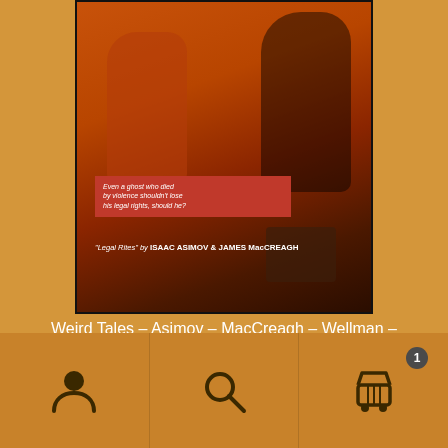[Figure (photo): Vintage Weird Tales magazine cover showing dark horror illustration with figures, red banner text reading 'Even a ghost who died by violence shouldn't lose his legal rights, should he?' and bottom text 'Legal Rites by ISAAC ASIMOV & JAMES MacCREAGH']
Weird Tales – Asimov – MacCreagh – Wellman – Bloch – Lawlor – Derleth – 09/50
$4.00
Add to cart